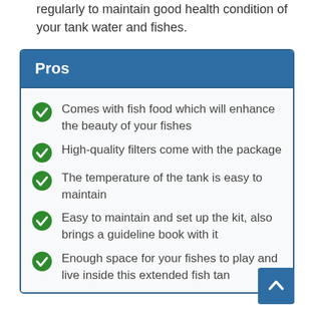regularly to maintain good health condition of your tank water and fishes.
Pros
Comes with fish food which will enhance the beauty of your fishes
High-quality filters come with the package
The temperature of the tank is easy to maintain
Easy to maintain and set up the kit, also brings a guideline book with it
Enough space for your fishes to play and live inside this extended fish tan